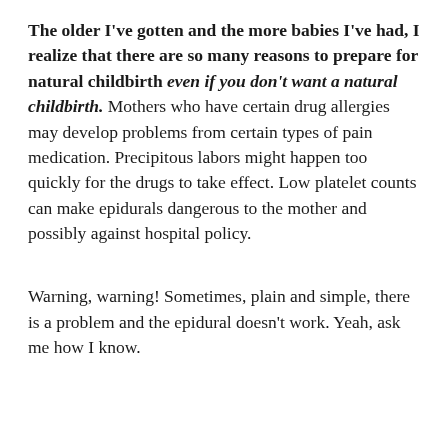The older I've gotten and the more babies I've had, I realize that there are so many reasons to prepare for natural childbirth even if you don't want a natural childbirth.  Mothers who have certain drug allergies may develop problems from certain types of pain medication.  Precipitous labors might happen too quickly for the drugs to take effect.  Low platelet counts can make epidurals dangerous to the mother and possibly against hospital policy.
Warning, warning! Sometimes, plain and simple, there is a problem and the epidural doesn't work. Yeah, ask me how I know.